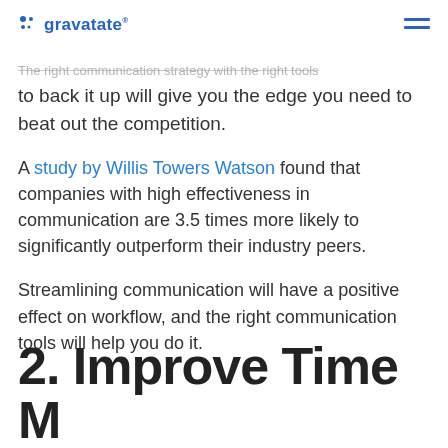gravatate
Competitive Edge
The right communication strategy with the right tools to back it up will give you the edge you need to beat out the competition.
A study by Willis Towers Watson found that companies with high effectiveness in communication are 3.5 times more likely to significantly outperform their industry peers.
Streamlining communication will have a positive effect on workflow, and the right communication tools will help you do it.
2. Improve Time Management